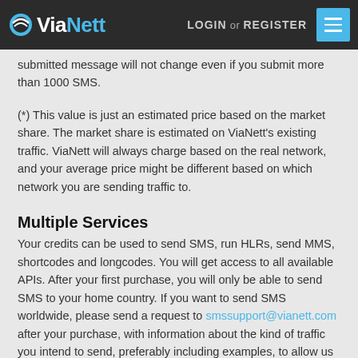ViaNett | LOGIN or REGISTER
submitted message will not change even if you submit more than 1000 SMS.
(*) This value is just an estimated price based on the market share. The market share is estimated on ViaNett's existing traffic. ViaNett will always charge based on the real network, and your average price might be different based on which network you are sending traffic to.
Multiple Services
Your credits can be used to send SMS, run HLRs, send MMS, shortcodes and longcodes. You will get access to all available APIs. After your first purchase, you will only be able to send SMS to your home country. If you want to send SMS worldwide, please send a request to smssupport@vianett.com after your purchase, with information about the kind of traffic you intend to send, preferably including examples, to allow us to evaluate whether we may remove the restriction on your account. This restriction is there to prevent SPAM.